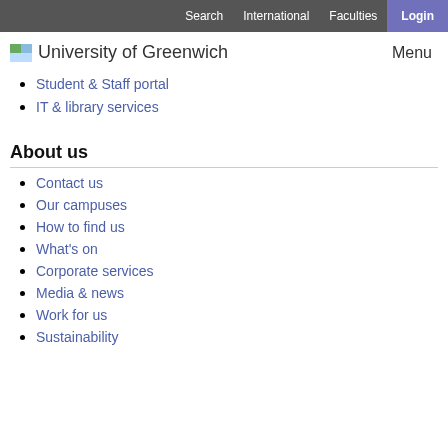Search  International  Faculties  Login
University of Greenwich
Menu
Student & Staff portal
IT & library services
About us
Contact us
Our campuses
How to find us
What's on
Corporate services
Media & news
Work for us
Sustainability